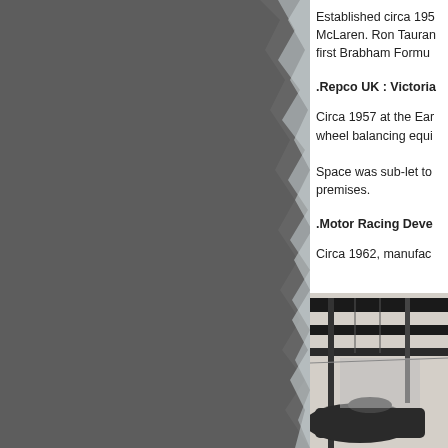[Figure (photo): Grey torn-edge background photograph occupying the left portion of the page]
Established circa 195... McLaren. Ron Tauran... first Brabham Formu...
.Repco UK : Victoria...
Circa 1957 at the Ear... wheel balancing equi...
Space was sub-let to... premises.
.Motor Racing Deve...
Circa 1962, manufac...
[Figure (photo): Black and white photograph of a racing car in a garage or workshop setting, showing overhead structures and car body]